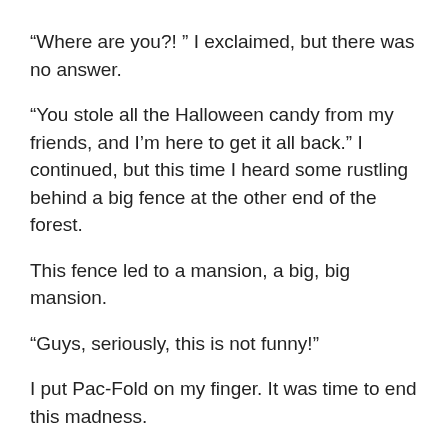“Where are you?! ” I exclaimed, but there was no answer.
“You stole all the Halloween candy from my friends, and I’m here to get it all back.” I continued, but this time I heard some rustling behind a big fence at the other end of the forest.
This fence led to a mansion, a big, big mansion.
“Guys, seriously, this is not funny!”
I put Pac-Fold on my finger. It was time to end this madness.
I went through some tall bushes, and then tried to get to the door of the mansion, but I couldn’t.
I couldn’t find the exit through the tall bushes. I turned right. Dead end.